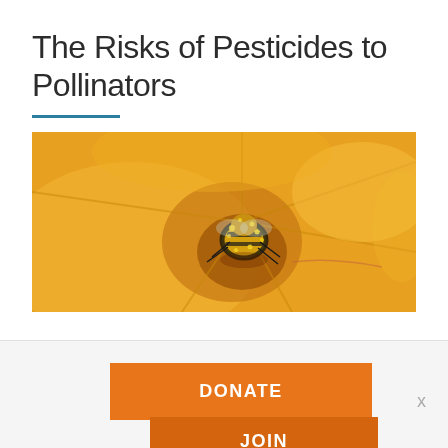The Risks of Pesticides to Pollinators
[Figure (photo): Close-up macro photograph of a bee covered in yellow pollen inside a bright yellow flower blossom, viewed from above into the flower center]
DONATE
JOIN